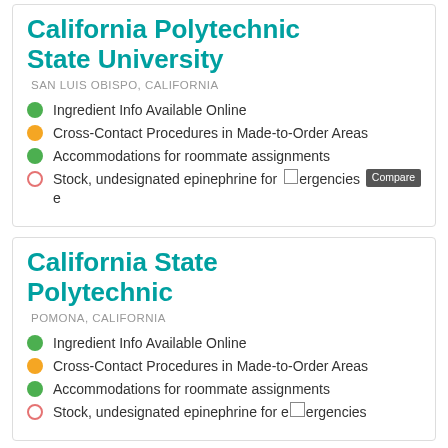California Polytechnic State University
SAN LUIS OBISPO, CALIFORNIA
Ingredient Info Available Online
Cross-Contact Procedures in Made-to-Order Areas
Accommodations for roommate assignments
Stock, undesignated epinephrine for emergencies
California State Polytechnic
POMONA, CALIFORNIA
Ingredient Info Available Online
Cross-Contact Procedures in Made-to-Order Areas
Accommodations for roommate assignments
Stock, undesignated epinephrine for emergencies